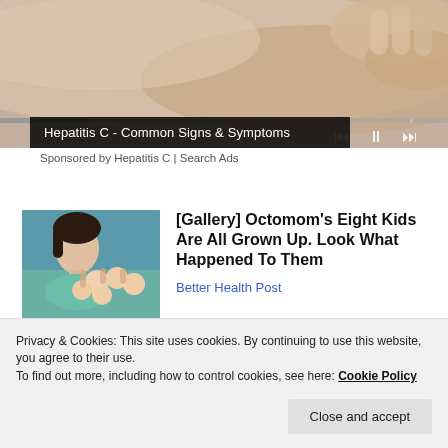[Figure (screenshot): Video player showing close-up of skin/arm being held, with playback controls and progress bar overlay]
Hepatitis C - Common Signs & Symptoms
Sponsored by Hepatitis C | Search Ads
[Figure (photo): Thumbnail photo of woman holding multiple babies (Octomom)]
[Gallery] Octomom's Eight Kids Are All Grown Up. Look What Happened To Them
Better Health Post
Privacy & Cookies: This site uses cookies. By continuing to use this website, you agree to their use.
To find out more, including how to control cookies, see here: Cookie Policy
Close and accept